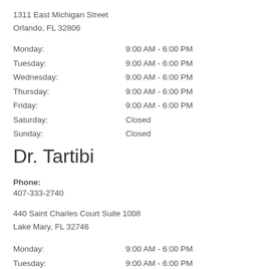1311 East Michigan Street
Orlando, FL 32806
| Day | Hours |
| --- | --- |
| Monday: | 9:00 AM - 6:00 PM |
| Tuesday: | 9:00 AM - 6:00 PM |
| Wednesday: | 9:00 AM - 6:00 PM |
| Thursday: | 9:00 AM - 6:00 PM |
| Friday: | 9:00 AM - 6:00 PM |
| Saturday: | Closed |
| Sunday: | Closed |
Dr. Tartibi
Phone:
407-333-2740
440 Saint Charles Court Suite 1008
Lake Mary, FL 32746
| Day | Hours |
| --- | --- |
| Monday: | 9:00 AM - 6:00 PM |
| Tuesday: | 9:00 AM - 6:00 PM |